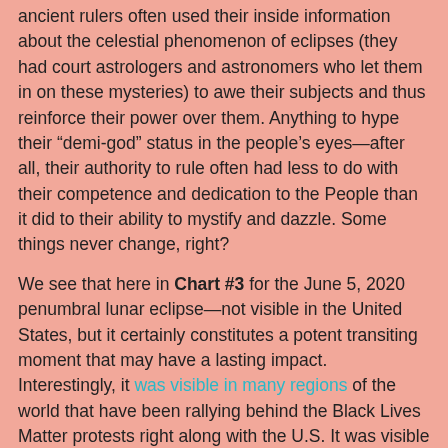ancient rulers often used their inside information about the celestial phenomenon of eclipses (they had court astrologers and astronomers who let them in on these mysteries) to awe their subjects and thus reinforce their power over them. Anything to hype their “demi-god” status in the people’s eyes—after all, their authority to rule often had less to do with their competence and dedication to the People than it did to their ability to mystify and dazzle. Some things never change, right?
We see that here in Chart #3 for the June 5, 2020 penumbral lunar eclipse—not visible in the United States, but it certainly constitutes a potent transiting moment that may have a lasting impact.  Interestingly, it was visible in many regions of the world that have been rallying behind the Black Lives Matter protests right along with the U.S. It was visible across most of Europe, Asia, Africa and Australia, and a big vertical slice along the eastern edge of South America. Perhaps these regions will find themselves embroiled in more issues concerning the right use of power and authority for some time to come. Let’s examine the chart for more specifics.